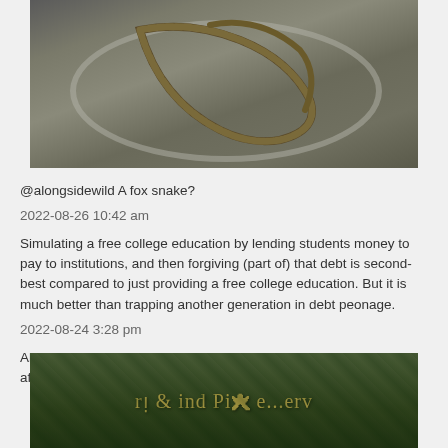[Figure (photo): Photo of a snake coiled in or around a circular metallic rim or container, viewed from above on a grey surface.]
@alongsidewild A fox snake?
2022-08-26 10:42 am
Simulating a free college education by lending students money to pay to institutions, and then forgiving (part of) that debt is second-best compared to just providing a free college education. But it is much better than trapping another generation in debt peonage.
2022-08-24 3:28 pm
Alia esperantisto jam alvenis, sed dum li mendas bieron, mi povas afiŝi foton de la mia.
[Figure (photo): Photo of an ivy-covered building facade with a gold/yellow sign partially visible reading something like 'ind Pi ... erv', the rest obscured by ivy.]